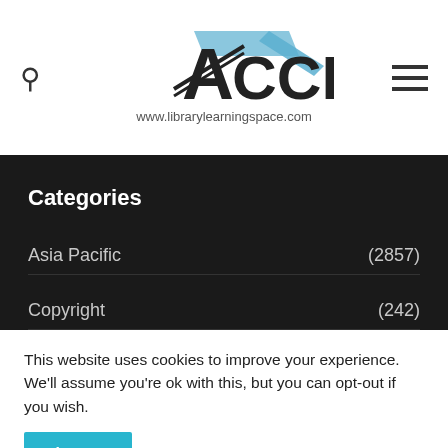[Figure (logo): ACCESS logo with stylized A and text 'ACCESS' plus URL www.librarylearningspace.com]
Categories
Asia Pacific (2857)
Copyright (242)
This website uses cookies to improve your experience. We'll assume you're ok with this, but you can opt-out if you wish.